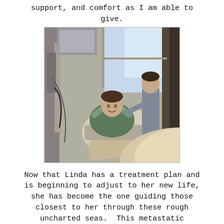support, and comfort as I am able to give.
[Figure (photo): Photo taken from a low angle in what appears to be a medical or clinical setting. A man in a green shirt is reclined in a chair with his arms behind his head, smiling. A woman stands nearby. Medical equipment and a bright window are visible in the background.]
Now that Linda has a treatment plan and is beginning to adjust to her new life, she has become the one guiding those closest to her through these rough uncharted seas.  This metastatic diagnosis is harsh, overwhelming, and